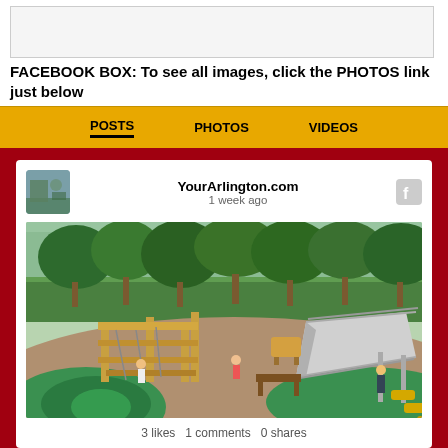[Figure (screenshot): White/light gray image placeholder box at top of page]
FACEBOOK BOX: To see all images, click the PHOTOS link just below
[Figure (screenshot): Facebook embed widget showing YourArlington.com page with navigation tabs (POSTS, PHOTOS, VIDEOS) and a post containing a playground rendering image. Shows 3 likes, 1 comments, 0 shares.]